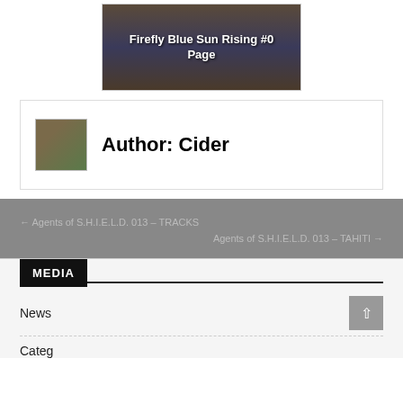[Figure (illustration): Comic book image with text overlay 'Firefly Blue Sun Rising #0 Page']
Author: Cider
← Agents of S.H.I.E.L.D. 013 – TRACKS
Agents of S.H.I.E.L.D. 013 – TAHITI →
MEDIA
News